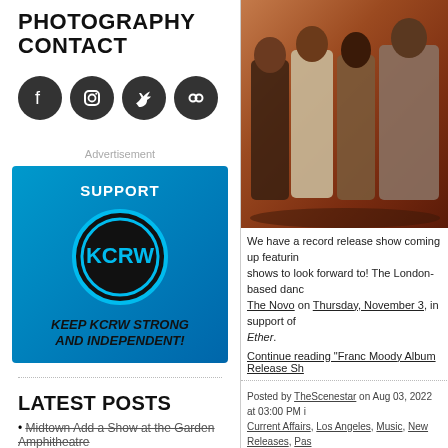PHOTOGRAPHY
CONTACT
[Figure (illustration): Four circular social media icons: Facebook, Instagram, Twitter, Flickr — dark grey circles with white icons]
Advertisement
[Figure (illustration): KCRW radio station support advertisement. Blue/teal background with black circle ring logo saying KCRW. Text: SUPPORT and KEEP KCRW STRONG AND INDEPENDENT!]
LATEST POSTS
Midtown Add a Show at the Garden Amphitheatre
[Figure (photo): Photo of four people standing together, appearing to be a music band, in warm reddish-orange toned lighting. People are dressed in stylish outfits.]
We have a record release show coming up featuring shows to look forward to! The London-based dance The Novo on Thursday, November 3, in support of Ether.
Continue reading "Franc Moody Album Release Sh
Posted by TheScenestar on Aug 03, 2022 at 03:00 PM in Current Affairs, Los Angeles, Music, New Releases, Pas Release, Record Release Party, Show, Ticket Onsale In YouTube | Permalink | Comments (0)
Tags: 2022, Downtown, Franc Moody, Into The Ether, Lo